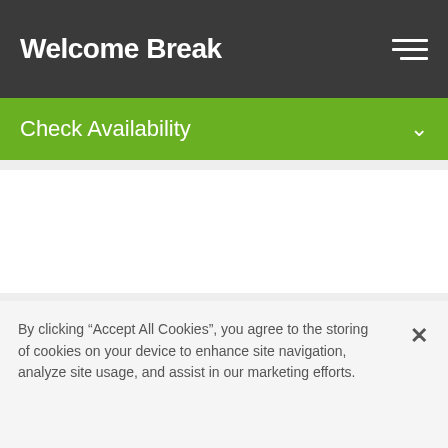Welcome Break
Check Availability
By clicking “Accept All Cookies”, you agree to the storing of cookies on your device to enhance site navigation, analyze site usage, and assist in our marketing efforts.